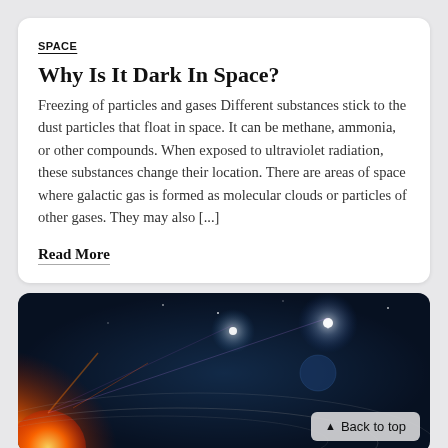SPACE
Why Is It Dark In Space?
Freezing of particles and gases Different substances stick to the dust particles that float in space. It can be methane, ammonia, or other compounds. When exposed to ultraviolet radiation, these substances change their location. There are areas of space where galactic gas is formed as molecular clouds or particles of other gases. They may also [...]
Read More
[Figure (photo): A space scene showing planets, orbital rings, a bright sun or star in the lower left with red and orange glow, and lens flares against a dark blue space background.]